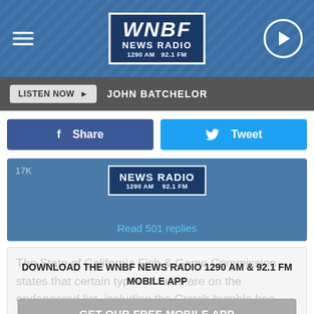[Figure (logo): WNBF News Radio 1290 AM 92.1 FM logo header with hamburger menu and play button]
LISTEN NOW  JOHN BATCHELOR
Share   Tweet
[Figure (screenshot): Tweet embed showing NEWS RADIO 1290 AM 92.1 FM badge and '17K' likes with 'Read 501 replies' link]
DOWNLOAD THE WNBF NEWS RADIO 1290 AM & 92.1 FM MOBILE APP
GET OUR FREE MOBILE APP
To keep them safe from pesticides, the Game Commission did their homework and found a logical reason why these bees can be classified as fish. The courts agreed. So there